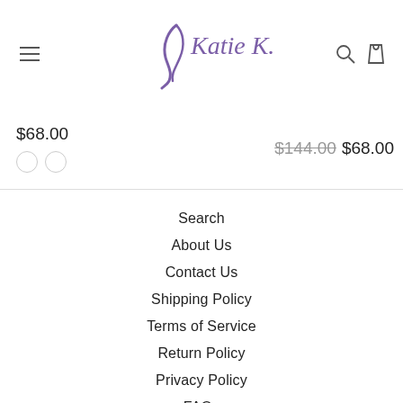[Figure (logo): Katie K brand logo with stylized purple text and decorative hair swoosh element]
$68.00
$144.00 $68.00
Search
About Us
Contact Us
Shipping Policy
Terms of Service
Return Policy
Privacy Policy
FAQs